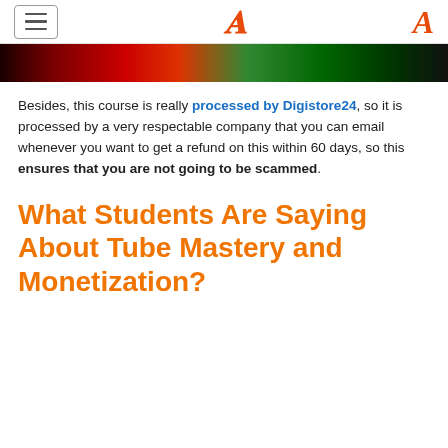[hamburger menu] [A logo]
[Figure (photo): Cropped banner image showing a person with colorful red, green lighting background]
Besides, this course is really processed by Digistore24, so it is processed by a very respectable company that you can email whenever you want to get a refund on this within 60 days, so this ensures that you are not going to be scammed.
What Students Are Saying About Tube Mastery and Monetization?